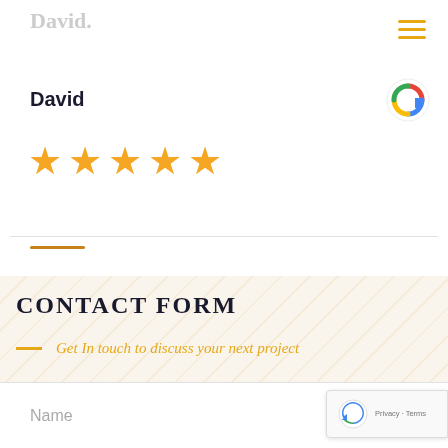David.
David
[Figure (other): Five golden stars rating]
[Figure (logo): Google G logo]
CONTACT FORM
Get In touch to discuss your next project
Name